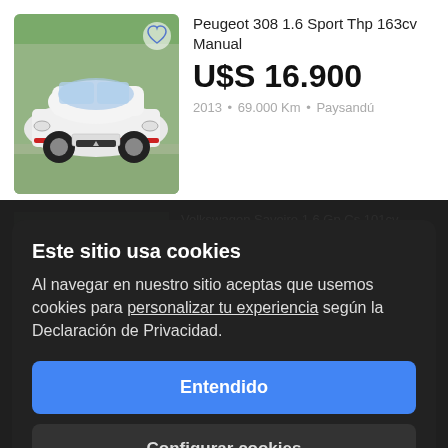[Figure (photo): White Peugeot 308 car photo with heart/favorite icon overlay]
Peugeot 308 1.6 Sport Thp 163cv Manual
U$S 16.900
2013 • 69.000 Km • Paysandú
Volkswagen Saveiro 1.6 Gp Cs 101cv
U$S 14.200
Este sitio usa cookies
Al navegar en nuestro sitio aceptas que usemos cookies para personalizar tu experiencia según la Declaración de Privacidad.
Entendido
U$S 26.000
Configurar cookies